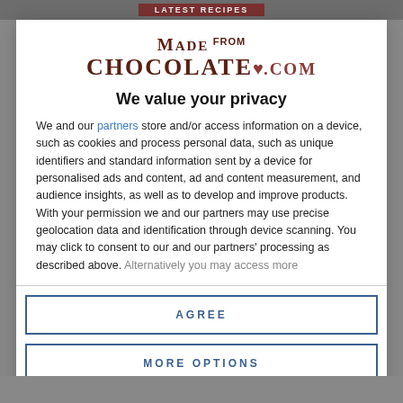[Figure (logo): MadeFromChocolate.com logo with serif text in dark brown/maroon colors]
We value your privacy
We and our partners store and/or access information on a device, such as cookies and process personal data, such as unique identifiers and standard information sent by a device for personalised ads and content, ad and content measurement, and audience insights, as well as to develop and improve products. With your permission we and our partners may use precise geolocation data and identification through device scanning. You may click to consent to our and our partners' processing as described above. Alternatively you may access more
AGREE
MORE OPTIONS